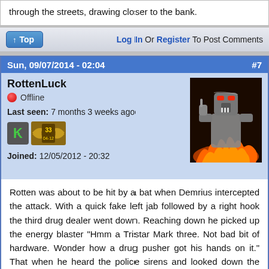through the streets, drawing closer to the bank.
Log In Or Register To Post Comments
Sun, 09/07/2014 - 02:04   #7
RottenLuck
Offline
Last seen: 7 months 3 weeks ago
[Figure (photo): User avatar showing a robotic Terminator-like figure surrounded by flames]
Joined: 12/05/2012 - 20:32
Rotten was about to be hit by a bat when Demrius intercepted the attack. With a quick fake left jab followed by a right hook the third drug dealer went down. Reaching down he picked up the energy blaster "Hmm a Tristar Mark three. Not bad bit of hardware. Wonder how a drug pusher got his hands on it." That when he heard the police sirens and looked down the street to the Bank hearing a loud crash. "Seems the night just starting. Looks like someone